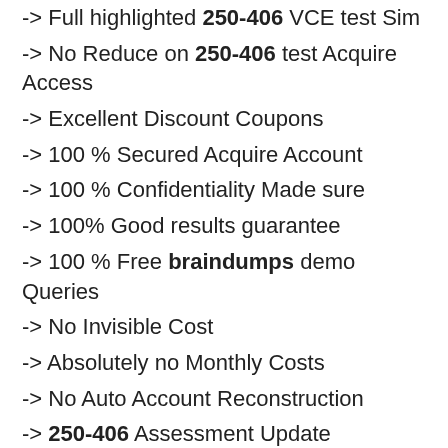-> Full highlighted 250-406 VCE test Sim
-> No Reduce on 250-406 test Acquire Access
-> Excellent Discount Coupons
-> 100 % Secured Acquire Account
-> 100 % Confidentiality Made sure
-> 100% Good results guarantee
-> 100 % Free braindumps demo Queries
-> No Invisible Cost
-> Absolutely no Monthly Costs
-> No Auto Account Reconstruction
-> 250-406 Assessment Update Excitation by E-mail
-> Free Tech support team
Assessment Detail in: